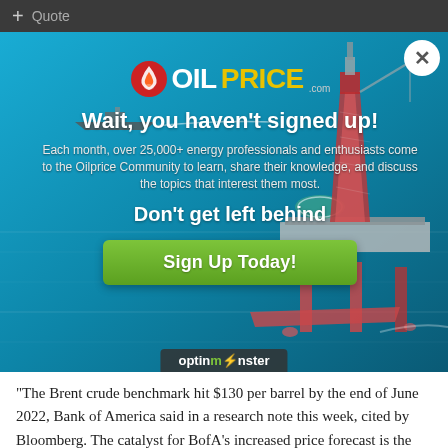+ Quote
[Figure (screenshot): OilPrice.com popup modal with oil rig background image, logo, headline 'Wait, you haven't signed up!', body text about energy community, 'Don't get left behind' subheading, and green Sign Up Today button. OptinMonster branding bar at bottom of modal.]
"The Brent crude benchmark hit $130 per barrel by the end of June 2022, Bank of America said in a research note this week, cited by Bloomberg. The catalyst for BofA's increased price forecast is the current global energy crisis that has seen prices for crude oil, coal,